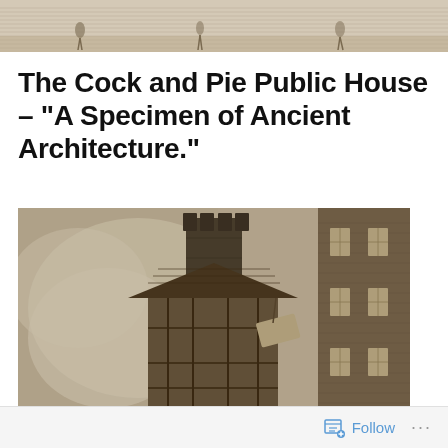[Figure (illustration): Top strip showing a partial historical scene with figures and buildings in sepia/engraving style]
The Cock and Pie Public House – “A Specimen of Ancient Architecture.”
[Figure (illustration): An engraving showing an old building – the Cock and Pie Public House – with a prominent chimney stack, timber-framed upper storey, and a taller brick building to the right. Cloudy sky background in cross-hatched engraving style.]
Follow ...